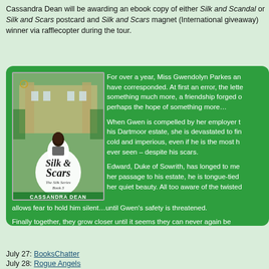Cassandra Dean will be awarding an ebook copy of either Silk and Scandal or Silk and Scars postcard and Silk and Scars magnet (International giveaway) winner via rafflecopter during the tour.
[Figure (illustration): Book cover of Silk & Scars by Cassandra Dean, The Silk Series Book 3, showing a woman in a white dress in front of a manor]
For over a year, Miss Gwendolyn Parkes and have corresponded. At first an error, the lette something much more, a friendship forged d perhaps the hope of something more…
When Gwen is compelled by her employer t his Dartmoor estate, she is devastated to fin cold and imperious, even if he is the most h ever seen – despite his scars.
Edward, Duke of Sowrith, has longed to me her passage to his estate, he is tongue-tied her quiet beauty. All too aware of the twisted allows fear to hold him silent…until Gwen's safety is threatened.
Finally together, they grow closer until it seems they can never again be commoner and a duke find a happily ever after?
July 27: BooksChatter
July 28: Rogue Angels